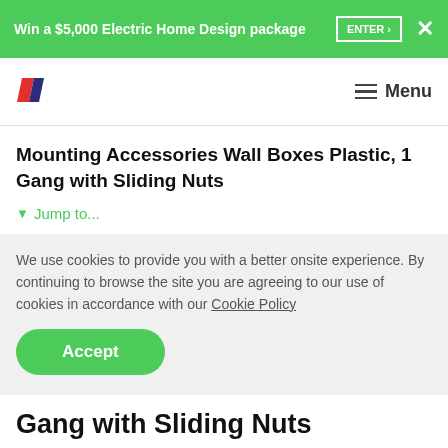Win a $5,000 Electric Home Design package  ENTER >  ×
[Figure (logo): Brand logo with two diagonal parallelogram shapes in red and dark blue, resembling stylized letter N or double slash]
Menu
Mounting Accessories Wall Boxes Plastic, 1 Gang with Sliding Nuts
▼ Jump to...
We use cookies to provide you with a better onsite experience. By continuing to browse the site you are agreeing to our use of cookies in accordance with our Cookie Policy
Accept
Gang with Sliding Nuts
Item Number:  157/1P